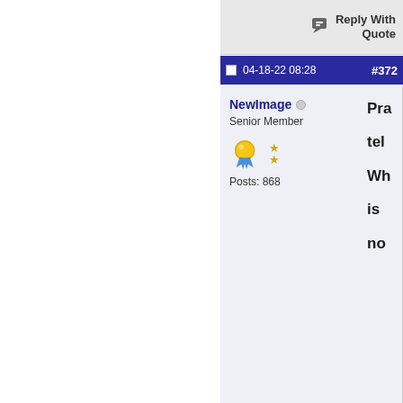Reply With Quote
04-18-22 08:28  #372
NewImage
Senior Member
Posts: 868
Pra... tel... Wh... is no...